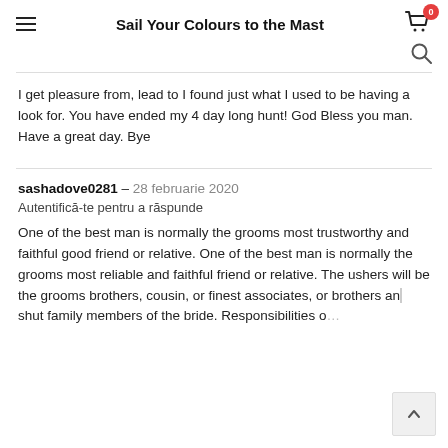Sail Your Colours to the Mast
I get pleasure from, lead to I found just what I used to be having a look for. You have ended my 4 day long hunt! God Bless you man. Have a great day. Bye
sashadove0281 - 28 februarie 2020
Autentifică-te pentru a răspunde
One of the best man is normally the grooms most trustworthy and faithful good friend or relative. One of the best man is normally the grooms most reliable and faithful friend or relative. The ushers will be the grooms brothers, cousin, or finest associates, or brothers and shut family members of the bride. Responsibilities o...